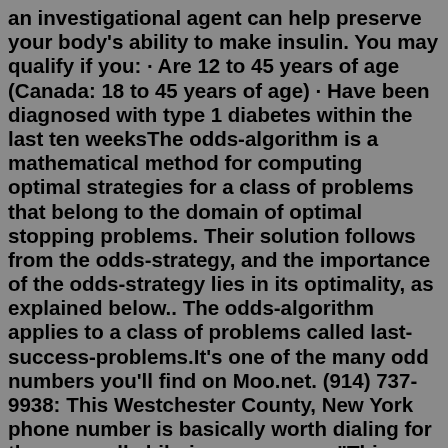an investigational agent can help preserve your body's ability to make insulin. You may qualify if you: · Are 12 to 45 years of age (Canada: 18 to 45 years of age) · Have been diagnosed with type 1 diabetes within the last ten weeksThe odds-algorithm is a mathematical method for computing optimal strategies for a class of problems that belong to the domain of optimal stopping problems. Their solution follows from the odds-strategy, and the importance of the odds-strategy lies in its optimality, as explained below.. The odds-algorithm applies to a class of problems called last-success-problems.It's one of the many odd numbers you'll find on Moo.net. (914) 737-9938: This Westchester County, New York phone number is basically worth dialing for the unusually hilarious message: "This a CPTA announcement test. Uh, I don't know what it's supposed to say; I'm not that concerned with it.A cumulative histogram for the die above can be drawn like this: 1 The dashed line shows, for every target number across the bottom,